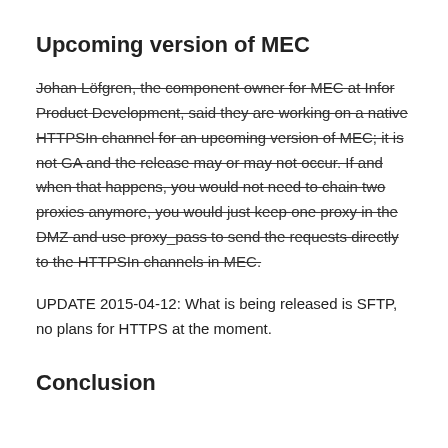Upcoming version of MEC
Johan Löfgren, the component owner for MEC at Infor Product Development, said they are working on a native HTTPSIn channel for an upcoming version of MEC; it is not GA and the release may or may not occur. If and when that happens, you would not need to chain two proxies anymore, you would just keep one proxy in the DMZ and use proxy_pass to send the requests directly to the HTTPSIn channels in MEC.
UPDATE 2015-04-12: What is being released is SFTP, no plans for HTTPS at the moment.
Conclusion